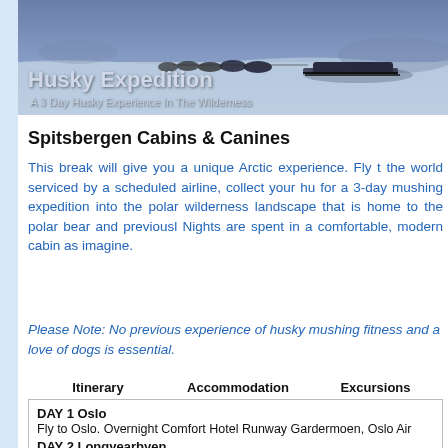[Figure (photo): Hero banner image showing a husky sled team pulling a sled across a snowy Arctic landscape, with blue-purple tones. Overlaid text reads 'Husky Expedition' and 'A 3 Day Husky Experience In The Wilderness'.]
Spitsbergen Cabins & Canines
This break will give you a unique Arctic experience. Fly to the world serviced by a scheduled airline, collect your hu for a 3-day mushing expedition into the polar wilderness landscape that is home to the polar bear and previously Nights are spent in a comfortable, modern cabin as imagine.
Please Note: No previous experience of husky mushing fitness and a love of dogs is essential.
| Itinerary | Accommodation | Excursions |
| --- | --- | --- |
| DAY 1 Oslo
Fly to Oslo. Overnight Comfort Hotel Runway Gardermoen, Oslo Air |  |  |
| DAY 2 Longyearbyen |  |  |